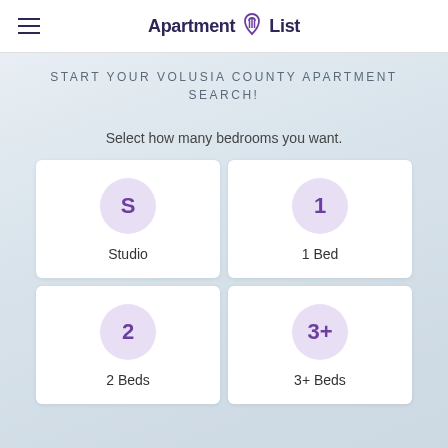Apartment List
START YOUR VOLUSIA COUNTY APARTMENT SEARCH!
Select how many bedrooms you want.
Studio
1 Bed
2 Beds
3+ Beds